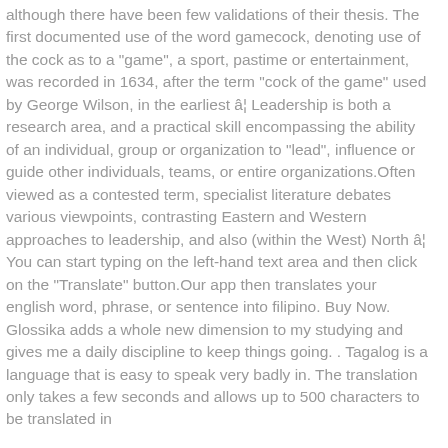although there have been few validations of their thesis. The first documented use of the word gamecock, denoting use of the cock as to a "game", a sport, pastime or entertainment, was recorded in 1634, after the term "cock of the game" used by George Wilson, in the earliest â¦ Leadership is both a research area, and a practical skill encompassing the ability of an individual, group or organization to "lead", influence or guide other individuals, teams, or entire organizations.Often viewed as a contested term, specialist literature debates various viewpoints, contrasting Eastern and Western approaches to leadership, and also (within the West) North â¦ You can start typing on the left-hand text area and then click on the "Translate" button.Our app then translates your english word, phrase, or sentence into filipino. Buy Now. Glossika adds a whole new dimension to my studying and gives me a daily discipline to keep things going. . Tagalog is a language that is easy to speak very badly in. The translation only takes a few seconds and allows up to 500 characters to be translated in